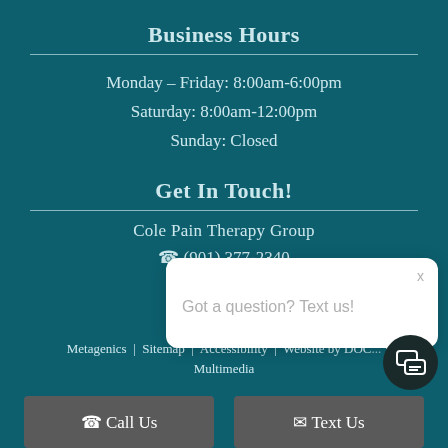Business Hours
Monday – Friday: 8:00am-6:00pm
Saturday: 8:00am-12:00pm
Sunday: Closed
Get In Touch!
Cole Pain Therapy Group
(901) 377-2340
2845 Su...
Memphi...
Metagenics | Sitemap | Accessibility | Website by DOC... Multimedia
[Figure (screenshot): Chat popup overlay with text 'Got a question? Text us!' and a close X button, plus a dark chat icon button in the bottom right]